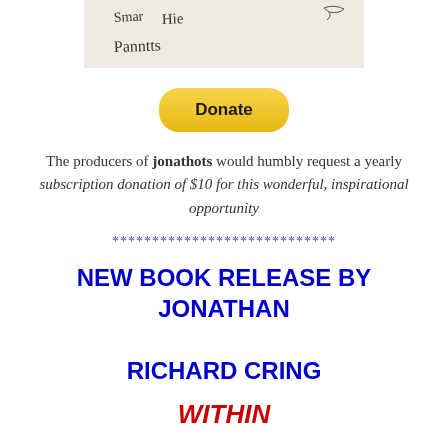[Figure (photo): Handwritten text reading 'Smartie Panntts' on light beige paper background]
[Figure (other): PayPal Donate button — yellow/gold rounded rectangle with bold text 'Donate']
The producers of jonathots would humbly request a yearly subscription donation of $10 for this wonderful, inspirational opportunity
****************************
NEW BOOK RELEASE BY JONATHAN RICHARD CRING
WITHIN